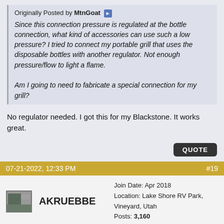Originally Posted by MtnGoat
Since this connection pressure is regulated at the bottle connection, what kind of accessories can use such a low pressure? I tried to connect my portable grill that uses the disposable bottles with another regulator. Not enough pressure/flow to light a flame.

Am I going to need to fabricate a special connection for my grill?
No regulator needed. I got this for my Blackstone. It works great.
QUOTE
07-21-2022, 12:33 PM  #19
AKRUEBBE
Join Date: Apr 2018
Location: Lake Shore RV Park, Vineyard, Utah
Posts: 3,160
I always use that connection whenever I'm deep frying something so I can do it outside. I use it often. Last night I hooked every thing up but the piece was missing out of the...